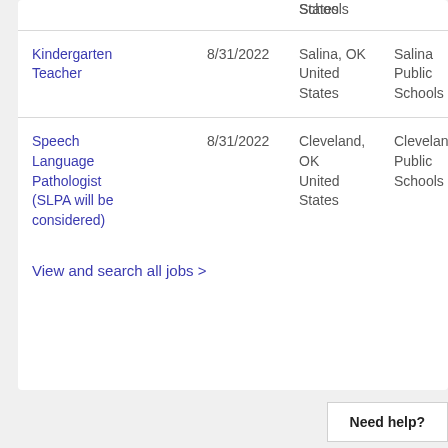| Job | Date | Location | Organization |
| --- | --- | --- | --- |
|  |  | States | Schools |
| Kindergarten Teacher | 8/31/2022 | Salina, OK United States | Salina Public Schools |
| Speech Language Pathologist (SLPA will be considered) | 8/31/2022 | Cleveland, OK United States | Cleveland Public Schools |
View and search all jobs >
Need help?